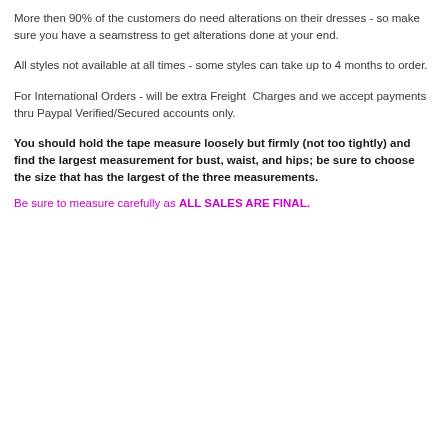More then 90% of the customers do need alterations on their dresses - so make sure you have a seamstress to get alterations done at your end.
All styles not available at all times - some styles can take up to 4 months to order.
For International Orders - will be extra Freight Charges and we accept payments thru Paypal Verified/Secured accounts only.
You should hold the tape measure loosely but firmly (not too tightly) and find the largest measurement for bust, waist, and hips; be sure to choose the size that has the largest of the three measurements.
Be sure to measure carefully as ALL SALES ARE FINAL.